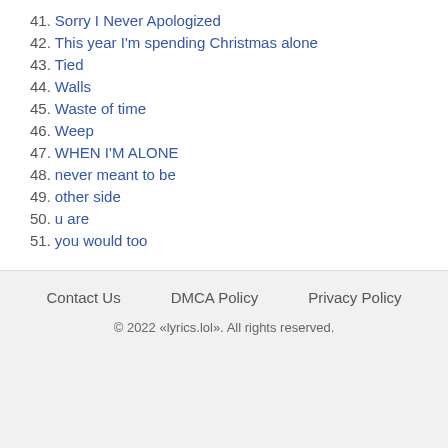41. Sorry I Never Apologized
42. This year I'm spending Christmas alone
43. Tied
44. Walls
45. Waste of time
46. Weep
47. WHEN I'M ALONE
48. never meant to be
49. other side
50. u are
51. you would too
Contact Us   DMCA Policy   Privacy Policy
© 2022 «lyrics.lol». All rights reserved.